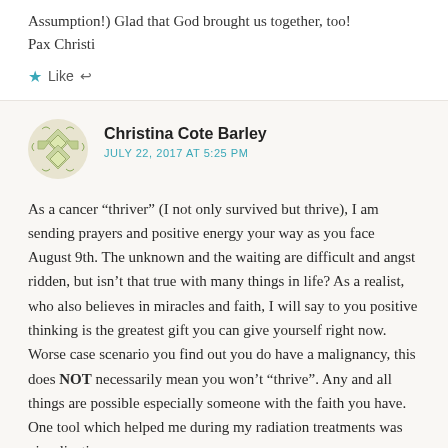Assumption!) Glad that God brought us together, too! Pax Christi
Like ↩
Christina Cote Barley
JULY 22, 2017 AT 5:25 PM
As a cancer “thriver” (I not only survived but thrive), I am sending prayers and positive energy your way as you face August 9th. The unknown and the waiting are difficult and angst ridden, but isn’t that true with many things in life? As a realist, who also believes in miracles and faith, I will say to you positive thinking is the greatest gift you can give yourself right now. Worse case scenario you find out you do have a malignancy, this does NOT necessarily mean you won’t “thrive”. Any and all things are possible especially someone with the faith you have. One tool which helped me during my radiation treatments was visualization